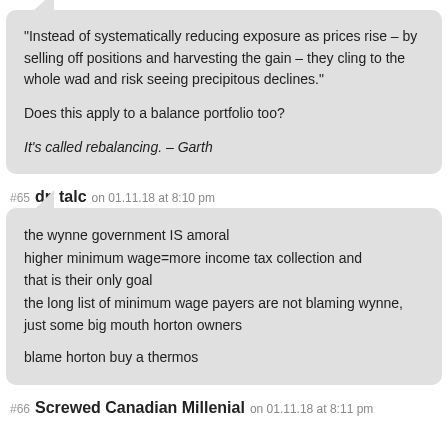“Instead of systematically reducing exposure as prices rise – by selling off positions and harvesting the gain – they cling to the whole wad and risk seeing precipitous declines.”

Does this apply to a balance portfolio too?

It’s called rebalancing. – Garth
#65  dr. talc  on 01.11.18 at 8:10 pm
the wynne government IS amoral
higher minimum wage=more income tax collection and
that is their only goal
the long list of minimum wage payers are not blaming wynne, just some big mouth horton owners

blame horton buy a thermos
#66  Screwed Canadian Millenial  on 01.11.18 at 8:11 pm